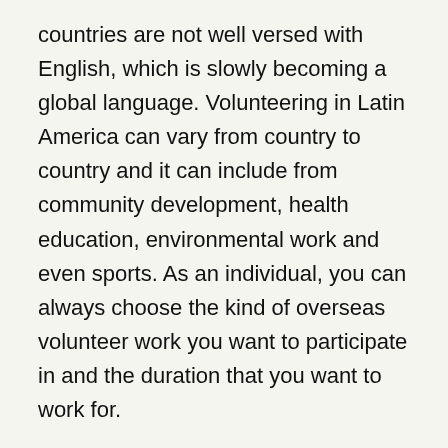countries are not well versed with English, which is slowly becoming a global language. Volunteering in Latin America can vary from country to country and it can include from community development, health education, environmental work and even sports. As an individual, you can always choose the kind of overseas volunteer work you want to participate in and the duration that you want to work for.
Volunteering in Latin America includes the following types of work:
Conservation volunteerism: This is of prime importance especially because a large part of the Amazon rain forest has disappeared and with it has disappeared many habitats. You can choose volunteering work from different types of conservation projects that include preservation of endangered species of turtles in Costa